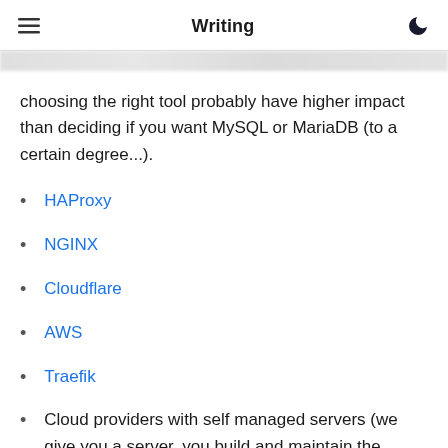Writing
choosing the right tool probably have higher impact than deciding if you want MySQL or MariaDB (to a certain degree...).
HAProxy
NGINX
Cloudflare
AWS
Traefik
Cloud providers with self managed servers (we give you a server, you build and maintain the software) — only Linux distributions (Debian & RHEL based)